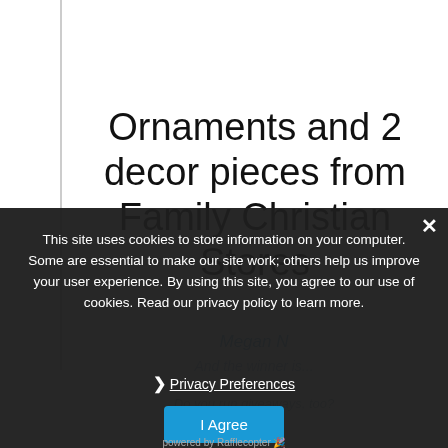Ornaments and 2 decor pieces from Family Christian Stores
And the winner is...
This site uses cookies to store information on your computer. Some are essential to make our site work; others help us improve your user experience. By using this site, you agree to our use of cookies. Read our privacy policy to learn more.
Megan N
Do you run giveaways, too?
❯ Privacy Preferences
I Agree
powered by Rafflecopter 🎉